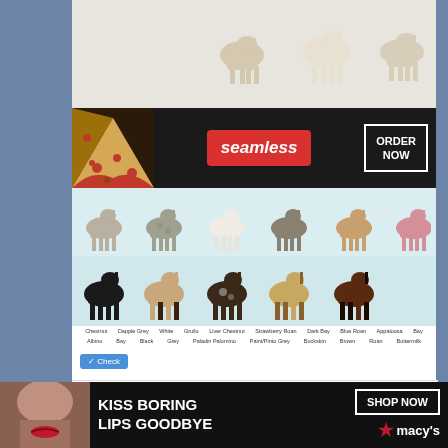[Figure (screenshot): Top portion of a horse coat colors drag and drop game showing 'Not started' badge and horse silhouettes on a beige background]
[Figure (screenshot): Seamless food delivery advertisement banner with pizza image, seamless logo in red, and ORDER NOW button on dark background]
[Figure (screenshot): Horse coat colors chart showing multiple horse silhouettes in various colors (dark, spotted, tan, brown) with labels below on light blue background]
Horse Coat Colors Drag & Drop Game
See more...
[Figure (screenshot): Bottom word search game area showing 'Not started' badge, letter grid with TLES and POMMELTT, Find the words panel with skirt and pommel listed, and CLOSE button]
[Figure (screenshot): Macy's advertisement banner: KISS BORING LIPS GOODBYE with SHOP NOW button and Macy's star logo]